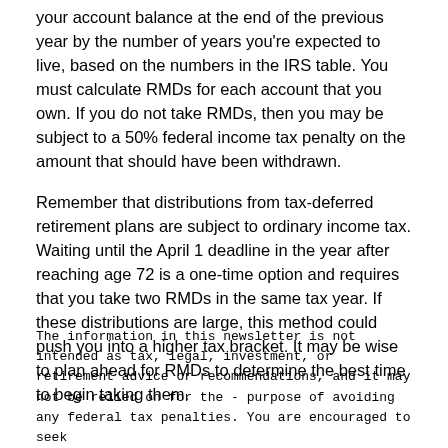your account balance at the end of the previous year by the number of years you're expected to live, based on the numbers in the IRS table. You must calculate RMDs for each account that you own. If you do not take RMDs, then you may be subject to a 50% federal income tax penalty on the amount that should have been withdrawn.
Remember that distributions from tax-deferred retirement plans are subject to ordinary income tax. Waiting until the April 1 deadline in the year after reaching age 72 is a one-time option and requires that you take two RMDs in the same tax year. If these distributions are large, this method could push you into a higher tax bracket. It may be wise to plan ahead for RMDs to determine the best time to begin taking them.
The information in this newsletter is not intended as tax, legal, investment, or retirement advice or recommendations, and it may not be relied on for the purpose of avoiding any federal tax penalties. You are encouraged to seek